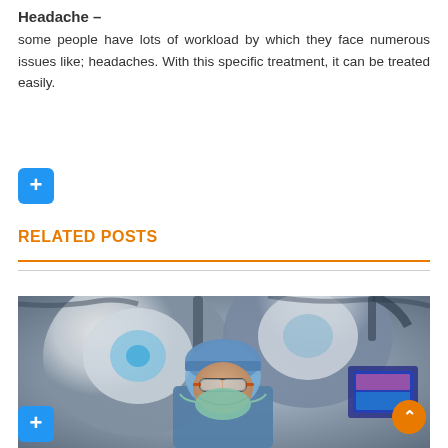Headache –
some people have lots of workload by which they face numerous issues like; headaches. With this specific treatment, it can be treated easily.
[Figure (other): Blue plus/add button icon]
RELATED POSTS
[Figure (photo): Surgeon in blue scrubs, surgical cap, mask, and safety glasses standing in an operating room beneath large surgical lights, looking upward toward camera]
[Figure (other): Blue plus/add button icon (bottom left)]
[Figure (other): Orange scroll-to-top button with upward arrow (bottom right)]